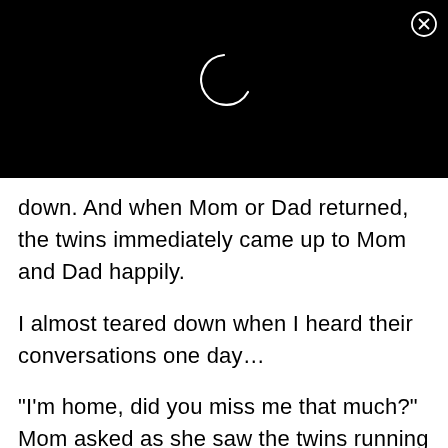[Figure (screenshot): Black header area with a loading spinner (white crescent/partial circle arc) centered, and a close button (circled X) in the top-right corner.]
down. And when Mom or Dad returned, the twins immediately came up to Mom and Dad happily.
I almost teared down when I heard their conversations one day…
“I’m home, did you miss me that much?” Mom asked as she saw the twins running off to hug